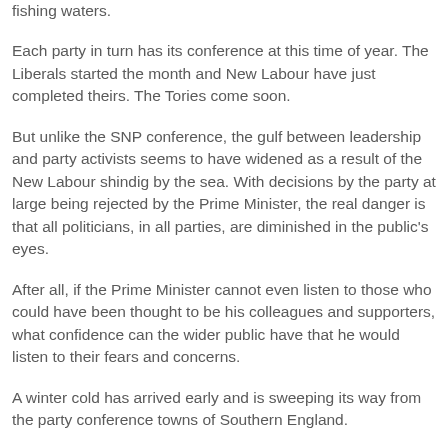fishing waters.
Each party in turn has its conference at this time of year. The Liberals started the month and New Labour have just completed theirs. The Tories come soon.
But unlike the SNP conference, the gulf between leadership and party activists seems to have widened as a result of the New Labour shindig by the sea. With decisions by the party at large being rejected by the Prime Minister, the real danger is that all politicians, in all parties, are diminished in the public's eyes.
After all, if the Prime Minister cannot even listen to those who could have been thought to be his colleagues and supporters, what confidence can the wider public have that he would listen to their fears and concerns.
A winter cold has arrived early and is sweeping its way from the party conference towns of Southern England.
Social Behaviour